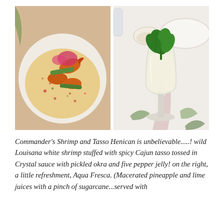[Figure (photo): Two food/drink photos side by side. Left: a white plate with Cajun shrimp, pickled okra, and colorful sauce. Right: a tall glass with a creamy drink garnished with fresh mint leaves, on a tropical-patterned table setting.]
Commander's Shrimp and Tasso Henican is unbelievable.....! wild Louisana white shrimp stuffed with spicy Cajun tasso tossed in Crystal sauce with pickled okra and five pepper jelly! on the right, a little refreshment, Aqua Fresca. (Macerated pineapple and lime juices with a pinch of sugarcane...served with